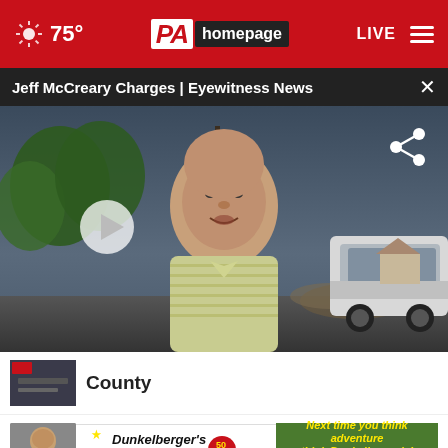PA Homepage — 75° | LIVE
Jeff McCreary Charges | Eyewitness News
[Figure (screenshot): Video thumbnail showing a middle-aged man in a striped polo shirt speaking outdoors, with trees, road, and a white SUV in the background. A play button is visible on the left side. A share icon is in the upper right.]
County
Next time you think adventure think Dunkelberger! Dunkelberger.com